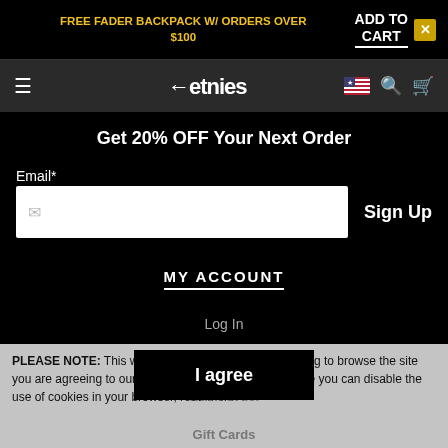FREE FADER BACKPACK W/ ORDERS OVER $100
ADD TO CART
[Figure (logo): etnies brand logo with left-arrow symbol]
Get 20% OFF Your Next Order
Email*
Sign Up
MY ACCOUNT
Log In
PLEASE NOTE: This website uses cookies, by continuing to browse the site you are agreeing to our use of cookies. If you don't agree you can disable the use of cookies in your browser, read more.
Track Order
I agree
Gift Cards